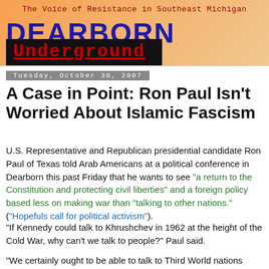The Voice of Resistance in Southeast Michigan
DEARBORN Underground
Tuesday, October 30, 2007
A Case in Point: Ron Paul Isn't Worried About Islamic Fascism
U.S. Representative and Republican presidential candidate Ron Paul of Texas told Arab Americans at a political conference in Dearborn this past Friday that he wants to see "a return to the Constitution and protecting civil liberties" and a foreign policy based less on making war than "talking to other nations." ("Hopefuls call for political activism").
"If Kennedy could talk to Khrushchev in 1962 at the height of the Cold War, why can't we talk to people?" Paul said.
"We certainly ought to be able to talk to Third World nations